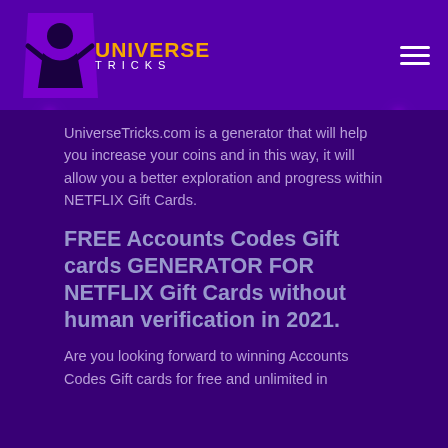[Figure (logo): Universe Tricks logo with purple trapezoid shape and stylized figure, orange UNIVERSE text and white TRICKS text]
UniverseTricks.com is a generator that will help you increase your coins and in this way, it will allow you a better exploration and progress within NETFLIX Gift Cards.
FREE Accounts Codes Gift cards GENERATOR FOR NETFLIX Gift Cards without human verification in 2021.
Are you looking forward to winning Accounts Codes Gift cards for free and unlimited in